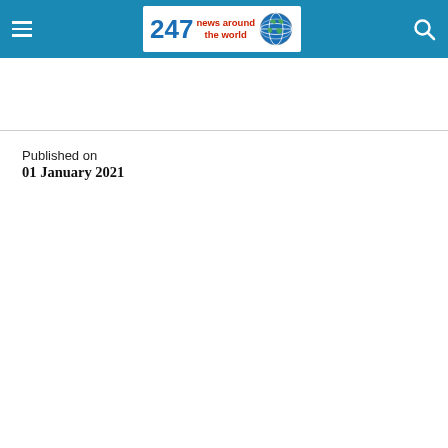247 news around the world
Published on
01 January 2021